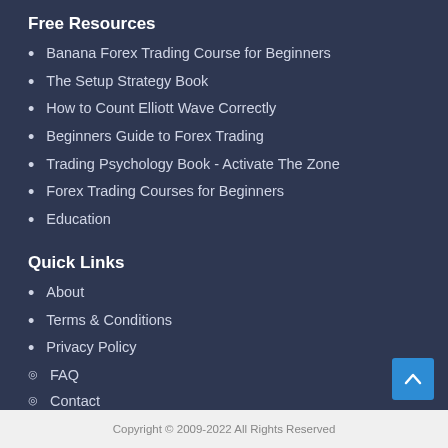Free Resources
Banana Forex Trading Course for Beginners
The Setup Strategy Book
How to Count Elliott Wave Correctly
Beginners Guide to Forex Trading
Trading Psychology Book - Activate The Zone
Forex Trading Courses for Beginners
Education
Quick Links
About
Terms & Conditions
Privacy Policy
FAQ
Contact
Copyright © 2009-2022 All Rights Reserved